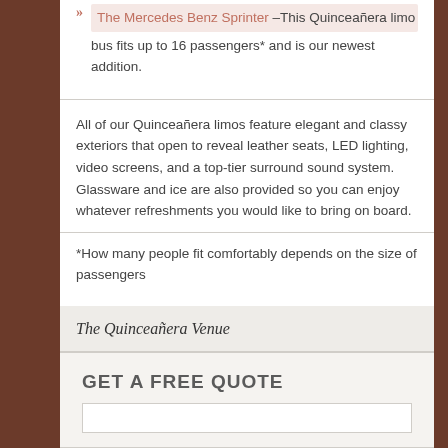The Mercedes Benz Sprinter – This Quinceañera limo bus fits up to 16 passengers* and is our newest addition.
All of our Quinceañera limos feature elegant and classy exteriors that open to reveal leather seats, LED lighting, video screens, and a top-tier surround sound system. Glassware and ice are also provided so you can enjoy whatever refreshments you would like to bring on board.
*How many people fit comfortably depends on the size of passengers
The Quinceañera Venue
Why You Should Start Planning Now...
GET A FREE QUOTE